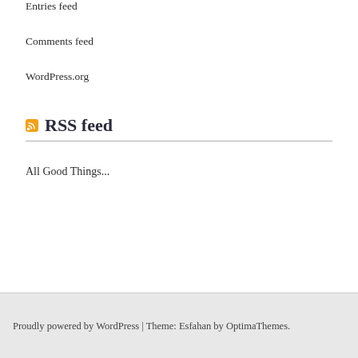Entries feed
Comments feed
WordPress.org
RSS feed
All Good Things...
Proudly powered by WordPress | Theme: Esfahan by OptimaThemes.